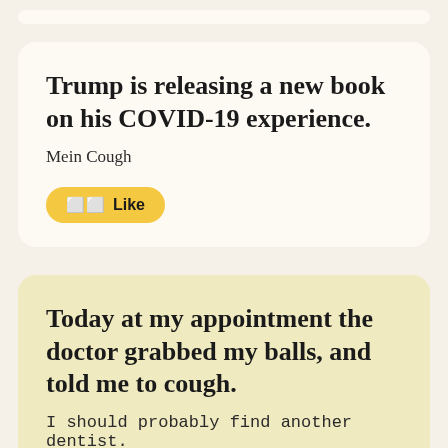Trump is releasing a new book on his COVID-19 experience.
Mein Cough
Like
Today at my appointment the doctor grabbed my balls, and told me to cough.
I should probably find another dentist.
Like